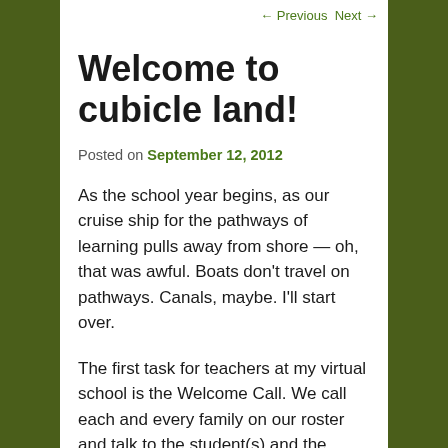← Previous  Next →
Welcome to cubicle land!
Posted on September 12, 2012
As the school year begins, as our cruise ship for the pathways of learning pulls away from shore — oh, that was awful. Boats don't travel on pathways. Canals, maybe. I'll start over.
The first task for teachers at my virtual school is the Welcome Call. We call each and every family on our roster and talk to the student(s) and the learning coach, usually a parent. These calls can take anywhere from fifteen minutes to thirty minutes to over an hour. The calls are well worth the time.
Meanwhile, back at the ranch, in the cubicle known as the O.K. Hardware, these calls sound different. My cubicle is